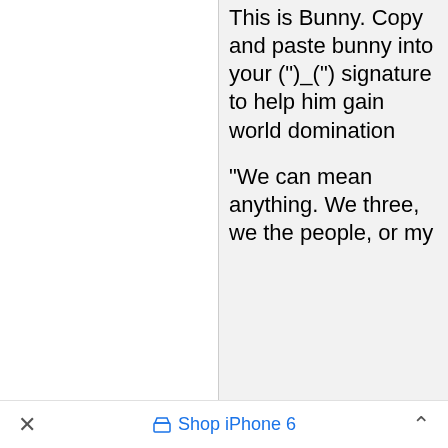This is Bunny. Copy and paste bunny into your (")_("') signature to help him gain world domination
"We can mean anything. We three, we the people, or my
✕   Shop iPhone 6   ∧